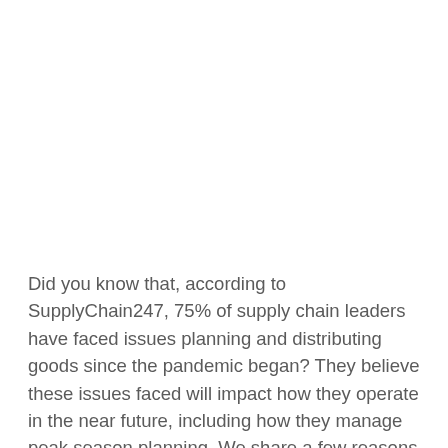Did you know that, according to SupplyChain247, 75% of supply chain leaders have faced issues planning and distributing goods since the pandemic began? They believe these issues faced will impact how they operate in the near future, including how they manage peak season planning. We share a few reasons why peak season planning should be a year-round activity for all businesses.